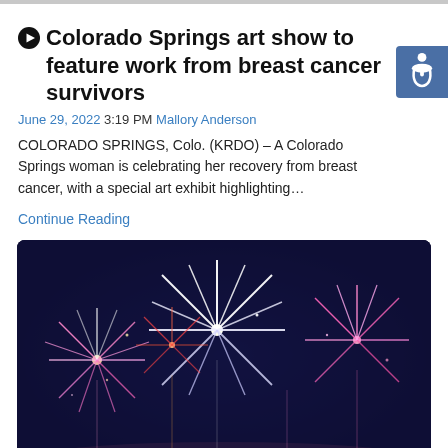Colorado Springs art show to feature work from breast cancer survivors
June 29, 2022 3:19 PM Mallory Anderson
COLORADO SPRINGS, Colo. (KRDO) – A Colorado Springs woman is celebrating her recovery from breast cancer, with a special art exhibit highlighting…
Continue Reading
[Figure (photo): Fireworks display with pink, white and blue fireworks against a dark navy sky]